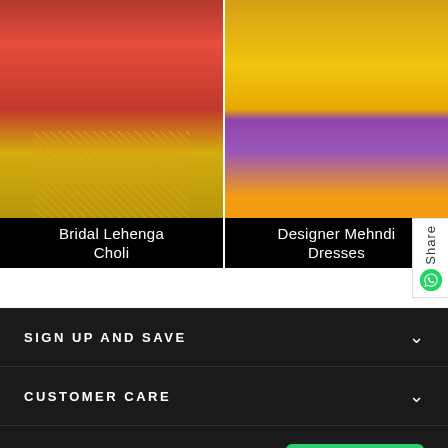[Figure (photo): Bridal Lehenga Choli - red and gold embroidered bridal outfit]
Bridal Lehenga Choli
[Figure (photo): Designer Mehndi Dresses - colorful yellow and purple mehndi outfits]
Designer Mehndi Dresses
SIGN UP AND SAVE
CUSTOMER CARE
FEATURED
Live Chat